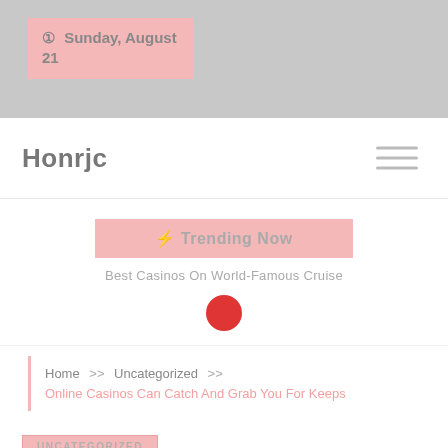Sunday, August 21
Honrjc
⚡ Trending Now
Best Casinos On World-Famous Cruise
Home >> Uncategorized >> Online Casinos Can Catch And Grab You For Keeps
UNCATEGORIZED
Online Casinos Can Catch And Grab You For Keeps